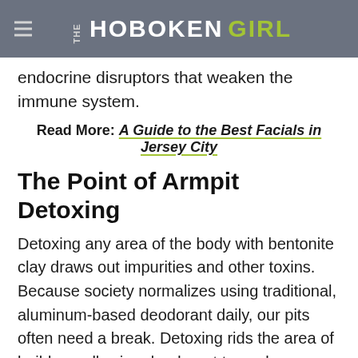THE HOBOKEN GIRL
...and substances that are like endocrine disruptors that weaken the immune system.
Read More: A Guide to the Best Facials in Jersey City
The Point of Armpit Detoxing
Detoxing any area of the body with bentonite clay draws out impurities and other toxins. Because society normalizes using traditional, aluminum-based deodorant daily, our pits often need a break. Detoxing rids the area of build-up, allowing deodorant to work more